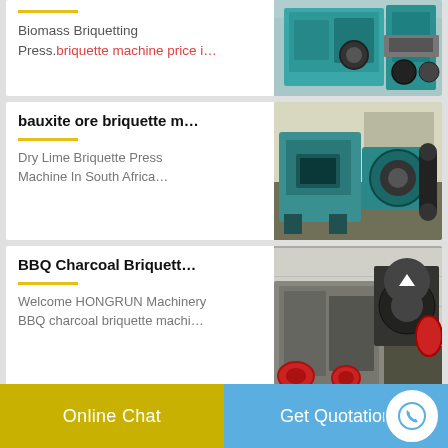Biomass Briquetting Press. briquette machine price i…
[Figure (photo): Teal/turquoise industrial briquette pressing machine in a factory setting]
bauxite ore briquette m…
Dry Lime Briquette Press Machine In South Africa…
[Figure (photo): Teal industrial briquette machine with motor, outdoors]
BBQ Charcoal Briquett…
Welcome HONGRUN Machinery BBQ charcoal briquette machi…
[Figure (photo): Large industrial briquette machine outdoor with scroll-to-top button overlay]
Online Chat
Get Quotation